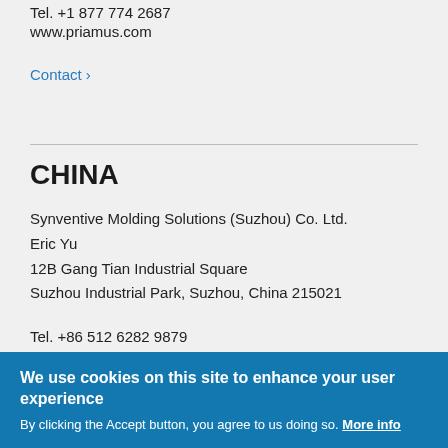Tel. +1 877 774 2687
www.priamus.com
Contact ›
CHINA
Synventive Molding Solutions (Suzhou) Co. Ltd.
Eric Yu
12B Gang Tian Industrial Square
Suzhou Industrial Park, Suzhou, China 215021
Tel. +86 512 6282 9879
We use cookies on this site to enhance your user experience
By clicking the Accept button, you agree to us doing so. More info